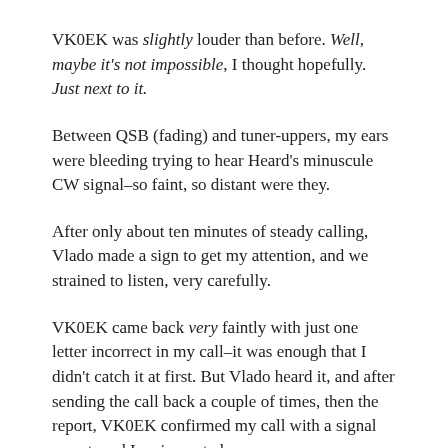VK0EK was slightly louder than before. Well, maybe it's not impossible, I thought hopefully. Just next to it.
Between QSB (fading) and tuner-uppers, my ears were bleeding trying to hear Heard's minuscule CW signal–so faint, so distant were they.
After only about ten minutes of steady calling, Vlado made a sign to get my attention, and we strained to listen, very carefully.
VK0EK came back very faintly with just one letter incorrect in my call–it was enough that I didn't catch it at first. But Vlado heard it, and after sending the call back a couple of times, then the report, VK0EK confirmed my call with a signal report, and I reciprocated.
Vlad and I leapt to our feet, yelling, “WOO HOO!” (and hopefully didn’t wake up any of Vlad’s neighbors)